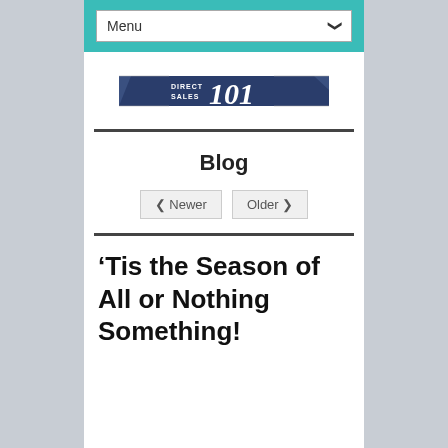Menu
[Figure (logo): Direct Sales 101 logo banner — dark navy blue horizontal banner with white text 'DIRECT SALES 101' in stylized font]
Blog
< Newer   Older >
‘Tis the Season of All or Nothing Something!